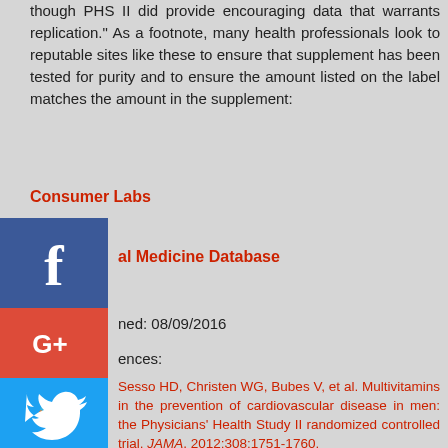though PHS II did provide encouraging data that warrants replication." As a footnote, many health professionals look to reputable sites like these to ensure that supplement has been tested for purity and to ensure the amount listed on the label matches the amount in the supplement:
Consumer Labs
[Figure (logo): Facebook social media icon - blue square with white 'f']
al Medicine Database
[Figure (logo): Google Plus social media icon - red square with G+ text]
ned: 08/09/2016
ences:
[Figure (logo): Twitter social media icon - blue square with bird]
Sesso HD, Christen WG, Bubes V, et al. Multivitamins in the prevention of cardiovascular disease in men: the Physicians' Health Study II randomized controlled trial. JAMA. 2012;308:1751-1760.
Gaziano JM, Sesso HD, Christen WG, et al. Multivitamins in the prevention of cancer in men: the Physicians' Health Study II randomized controlled trial. JAMA. 2012;308:1871-1880.
Christen WG, Glynn RJ, Manson JE, et al. Effects of multivitamin supplement on cataract and age-related macular degeneration in a randomized trial of male physicians.